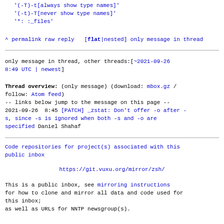'(-T)-t[always show type names]'
'(-t)-T[never show type names]'
'*: :_files'
^ permalink raw reply [flat|nested] only message in thread
only message in thread, other threads:[~2021-09-26 8:49 UTC | newest]
Thread overview: (only message) (download: mbox.gz / follow: Atom feed)
-- links below jump to the message on this page --
2021-09-26  8:45 [PATCH] _zstat: Don't offer -o after -s, since -s is ignored when both -s and -o are specified Daniel Shahaf
Code repositories for project(s) associated with this public inbox
https://git.vuxu.org/mirror/zsh/
This is a public inbox, see mirroring instructions for how to clone and mirror all data and code used for this inbox;
as well as URLs for NNTP newsgroup(s).